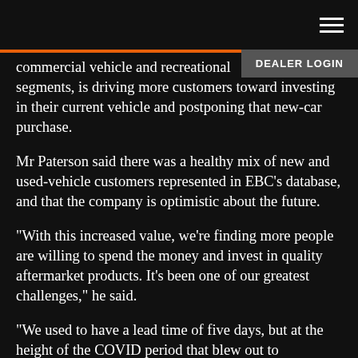commercial vehicle and recreational…ve segments, is driving more customers toward investing in their current vehicle and postponing that new-car purchase.
Mr Paterson said there was a healthy mix of new and used-vehicle customers represented in EBC’s database, and that the company is optimistic about the future.
“With this increased value, we’re finding more people are willing to spend the money and invest in quality aftermarket products. It’s been one of our greatest challenges,” he said.
“We used to have a lead time of five days, but at the height of the COVID period that blew out to something like 10 weeks. So, we’ve had to manage that.
“A lot of fairly basic production became a little of the last...